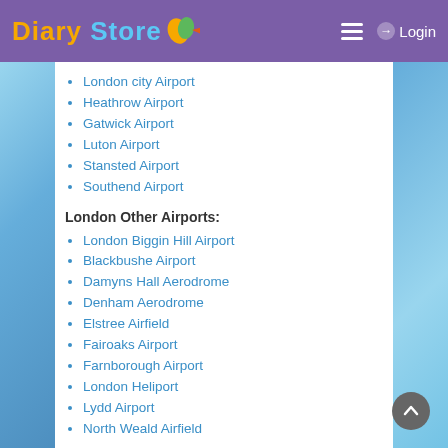Diary Store — Login
London city Airport
Heathrow Airport
Gatwick Airport
Luton Airport
Stansted Airport
Southend Airport
London Other Airports:
London Biggin Hill Airport
Blackbushe Airport
Damyns Hall Aerodrome
Denham Aerodrome
Elstree Airfield
Fairoaks Airport
Farnborough Airport
London Heliport
Lydd Airport
North Weald Airfield